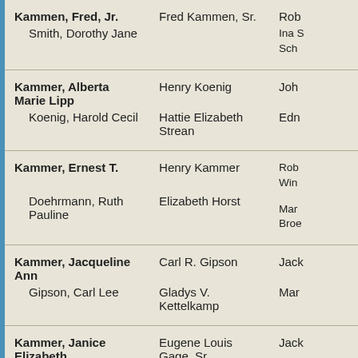| Name | Parent/Relation 1 | Parent/Relation 2 |
| --- | --- | --- |
| Kammen, Fred, Jr. / Smith, Dorothy Jane | Fred Kammen, Sr. | Rob... / Ina... Sch... |
| Kammer, Alberta Marie Lipp / Koenig, Harold Cecil | Henry Koenig / Hattie Elizabeth Strean | Joh... / Edn... |
| Kammer, Ernest T. / Doehrmann, Ruth Pauline | Henry Kammer / Elizabeth Horst | Rob... Win... / Mar... Broe... |
| Kammer, Jacqueline Ann / Gipson, Carl Lee | Carl R. Gipson / Gladys V. Kettelkamp | Jack... / Mar... |
| Kammer, Janice Elizabeth / Gage, Eugene Louis, Jr. | Eugene Louis Gage, Sr. / Margaret Eloise Edelen | Jack... / Mar... |